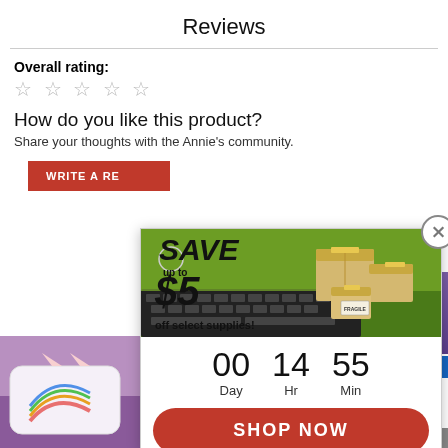Reviews
Overall rating:
☆ ☆ ☆ ☆ ☆
How do you like this product?
Share your thoughts with the Annie's community.
WRITE A REVIEW
[Figure (screenshot): Popup advertisement: SAVE up to $5 off select supplies with countdown 00 Day 14 Hr 55 Min and SHOP NOW button. Background shows cardboard boxes on keyboard.]
[Figure (photo): Pillow product thumbnail in bottom left corner, rainbow and cat ear design on purple background.]